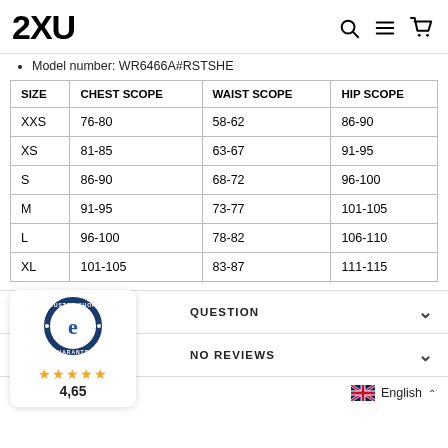2XU
Model number: WR6466A#RSTSHE
| SIZE | CHEST SCOPE | WAIST SCOPE | HIP SCOPE |
| --- | --- | --- | --- |
| XXS | 76-80 | 58-62 | 86-90 |
| XS | 81-85 | 63-67 | 91-95 |
| S | 86-90 | 68-72 | 96-100 |
| M | 91-95 | 73-77 | 101-105 |
| L | 96-100 | 78-82 | 106-110 |
| XL | 101-105 | 83-87 | 111-115 |
[Figure (logo): Trusted Shops e badge with star rating 4,65]
QUESTION
NO REVIEWS
English